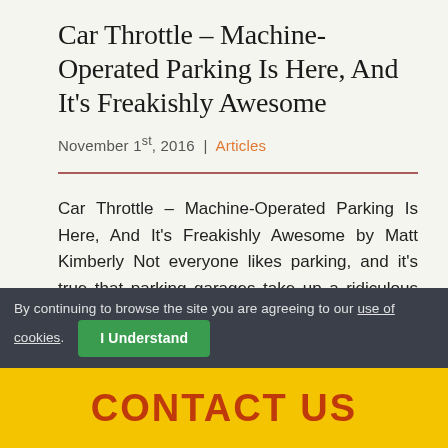Car Throttle – Machine-Operated Parking Is Here, And It's Freakishly Awesome
November 1st, 2016 | Articles
Car Throttle – Machine-Operated Parking Is Here, And It's Freakishly Awesome by Matt Kimberly Not everyone likes parking, and it's true that parking garages take up a ridiculous amount of [...]
By continuing to browse the site you are agreeing to our use of cookies. I Understand
CONTACT US